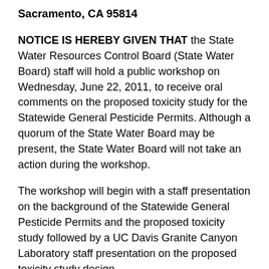Sacramento, CA 95814
NOTICE IS HEREBY GIVEN THAT the State Water Resources Control Board (State Water Board) staff will hold a public workshop on Wednesday, June 22, 2011, to receive oral comments on the proposed toxicity study for the Statewide General Pesticide Permits. Although a quorum of the State Water Board may be present, the State Water Board will not take an action during the workshop.
The workshop will begin with a staff presentation on the background of the Statewide General Pesticide Permits and the proposed toxicity study followed by a UC Davis Granite Canyon Laboratory staff presentation on the proposed toxicity study design.
BACKGROUND
The State Water Board has funded a toxicity study to